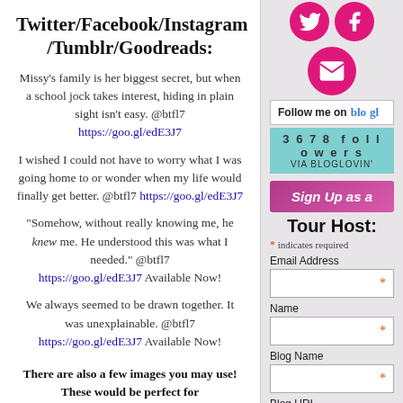Twitter/Facebook/Instagram/Tumblr/Goodreads:
Missy’s family is her biggest secret, but when a school jock takes interest, hiding in plain sight isn’t easy. @btfl7 https://goo.gl/edE3J7
I wished I could not have to worry what I was going home to or wonder when my life would finally get better. @btfl7 https://goo.gl/edE3J7
“Somehow, without really knowing me, he knew me. He understood this was what I needed.” @btfl7 https://goo.gl/edE3J7 Available Now!
We always seemed to be drawn together. It was unexplainable. @btfl7 https://goo.gl/edE3J7 Available Now!
There are also a few images you may use! These would be perfect for
[Figure (infographic): Social media icons: Twitter bird and Facebook 'f' in pink circles, email envelope in pink circle, Follow me on Bloglovin widget, 3678 followers via Bloglovin badge, Sign Up as a Tour Host button and form with Email Address, Name, Blog Name, Blog URL fields]
Follow me on bloglovin
3678 followers VIA BLOGLOVIN'
* indicates required
Email Address
Name
Blog Name
Blog URL